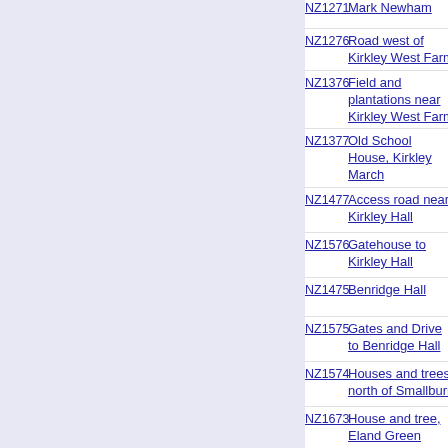| Code | Name | Date | Category | Details |
| --- | --- | --- | --- | --- |
| NZ1276 | Road west of Kirkley West Farm | Thu, 9 Feb 2006 | Geograph | p... t... |
| NZ1376 | Field and plantations near Kirkley West Farm | Thu, 9 Feb 2006 | Geograph | p... t... |
| NZ1377 | Old School House, Kirkley March | Thu, 9 Feb 2006 | Geograph | p... t... |
| NZ1477 | Access road near Kirkley Hall | Thu, 9 Feb 2006 | Geograph | p... t... |
| NZ1576 | Gatehouse to Kirkley Hall | Thu, 9 Feb 2006 | Geograph | p... t... |
| NZ1475 | Benridge Hall | Thu, 9 Feb 2006 | not yet allocated |  |
| NZ1575 | Gates and Drive to Benridge Hall | Thu, 9 Feb 2006 | Geograph | p... t... |
| NZ1574 | Houses and trees, north of Smallburn | Thu, 9 Feb 2006 | Geograph | p... t... |
| NZ1673 | House and tree, Eland Green | Thu, 9 Feb 2006 | Geograph | p... t... |
| NZ2454 | The road to High Urpeth | Tue, 7 Feb 2006 | Geograph | p... t... |
| NZ2354 | Cranberry Bog Road | Tue, 7 Feb 2006 | Geograph | p... |